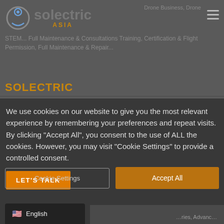Solectric Asia
Drone Business, Drone STEM... Full Maintenance & Repair...
SOLECTRIC
We use cookies on our website to give you the most relevant experience by remembering your preferences and repeat visits. By clicking "Accept All", you consent to the use of ALL the cookies. However, you may visit "Cookie Settings" to provide a controlled consent.
Cookie Settings
Accept All
LET'S TALK
English